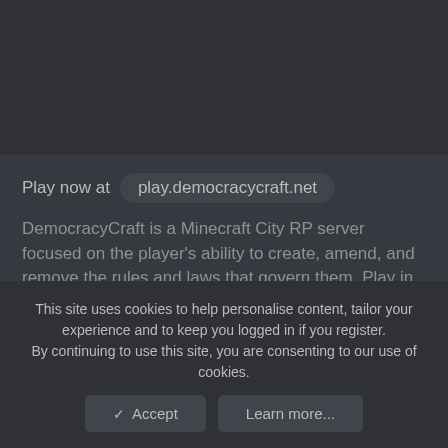[Figure (screenshot): Dark top bar area of a website/app interface]
Play now at   play.democracycraft.net
DemocracyCraft is a Minecraft City RP server focused on the player's ability to create, amend, and remove the rules and laws that govern them. Play in an urban city environment, or beyond in the depths of the wild. The server boasts cars, helicopters, a democratically elected government, businesses, economy, among other realistic, life-like features!
This site uses cookies to help personalise content, tailor your experience and to keep you logged in if you register.
By continuing to use this site, you are consenting to our use of cookies.
✓  Accept
Learn more...